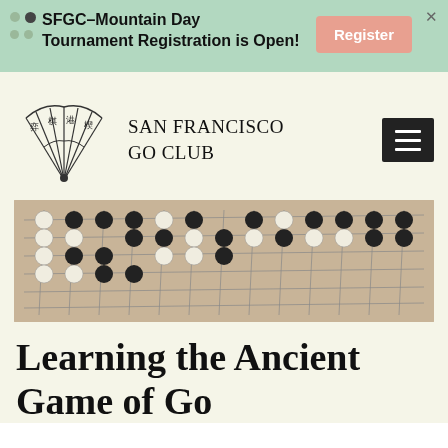SFGC–Mountain Day Tournament Registration is Open! Register
[Figure (logo): San Francisco Go Club logo: a folding fan with Chinese characters, and text reading SAN FRANCISCO GO CLUB]
[Figure (photo): A Go board (goban) with black and white stones arranged in a game position, viewed from a slight angle]
Learning the Ancient Game of Go